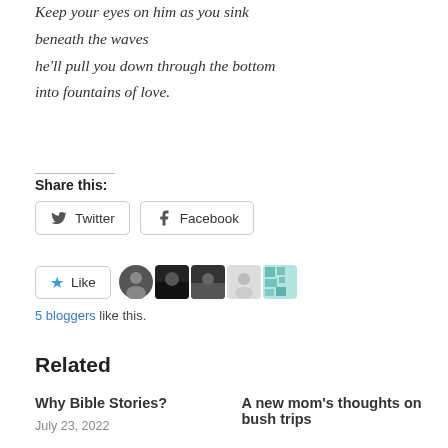Keep your eyes on him as you sink
beneath the waves
he'll pull you down through the bottom
into fountains of love.
Share this:
[Figure (other): Twitter and Facebook share buttons]
[Figure (other): Like button with 5 blogger avatars]
5 bloggers like this.
Related
Why Bible Stories?
July 23, 2022
A new mom's thoughts on bush trips